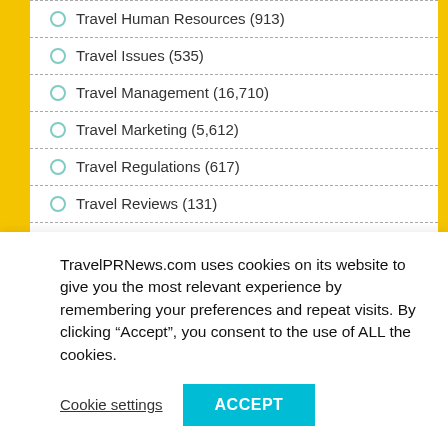Travel Human Resources (913)
Travel Issues (535)
Travel Management (16,710)
Travel Marketing (5,612)
Travel Regulations (617)
Travel Reviews (131)
Travel Safety (953)
Travel Services (24,758)
TravelPRNews.com uses cookies on its website to give you the most relevant experience by remembering your preferences and repeat visits. By clicking “Accept”, you consent to the use of ALL the cookies.
Cookie settings | ACCEPT